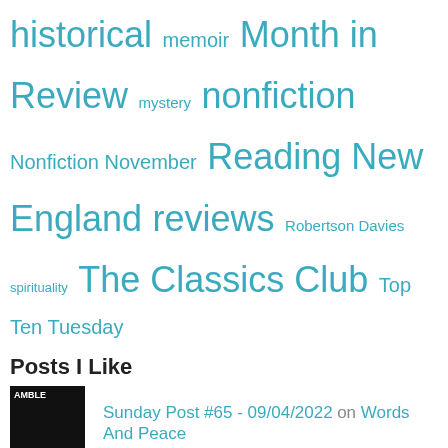historical memoir Month in Review mystery nonfiction Nonfiction November Reading New England reviews Robertson Davies spirituality The Classics Club Top Ten Tuesday
Posts I Like
Sunday Post #65 - 09/04/2022 on Words And Peace
Sample Sunday: Relationships i… on BookerTalk
#WitchWeek2022 on Lizzie Ross